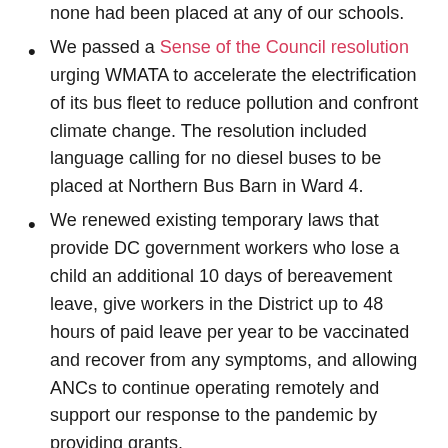none had been placed at any of our schools.
We passed a Sense of the Council resolution urging WMATA to accelerate the electrification of its bus fleet to reduce pollution and confront climate change. The resolution included language calling for no diesel buses to be placed at Northern Bus Barn in Ward 4.
We renewed existing temporary laws that provide DC government workers who lose a child an additional 10 days of bereavement leave, give workers in the District up to 48 hours of paid leave per year to be vaccinated and recover from any symptoms, and allowing ANCs to continue operating remotely and support our response to the pandemic by providing grants.